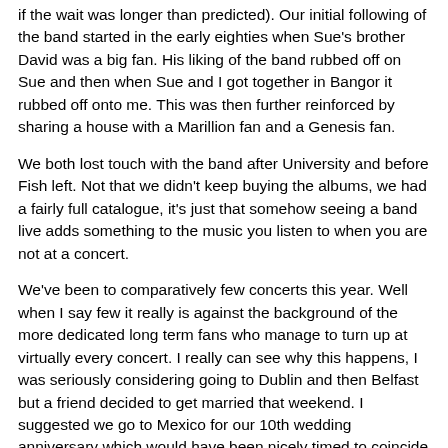if the wait was longer than predicted). Our initial following of the band started in the early eighties when Sue's brother David was a big fan. His liking of the band rubbed off on Sue and then when Sue and I got together in Bangor it rubbed off onto me. This was then further reinforced by sharing a house with a Marillion fan and a Genesis fan.
We both lost touch with the band after University and before Fish left. Not that we didn't keep buying the albums, we had a fairly full catalogue, it's just that somehow seeing a band live adds something to the music you listen to when you are not at a concert.
We've been to comparatively few concerts this year. Well when I say few it really is against the background of the more dedicated long term fans who manage to turn up at virtually every concert. I really can see why this happens, I was seriously considering going to Dublin and then Belfast but a friend decided to get married that weekend. I suggested we go to Mexico for our 10th wedding anniversary which would have been nicely timed to coincide with the guys playing that city but Sue took the view that it was perhaps too loyal (I have to say that was September and at the time of writing (November) I think she has perhaps reassessed her loyalty and we would have been going).